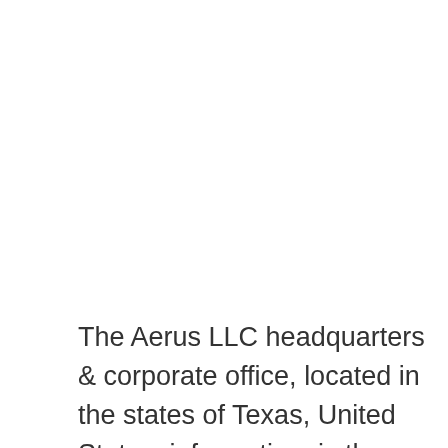The Aerus LLC headquarters & corporate office, located in the states of Texas, United States, information, is the most updated data available. We work 24/7 to make sure the